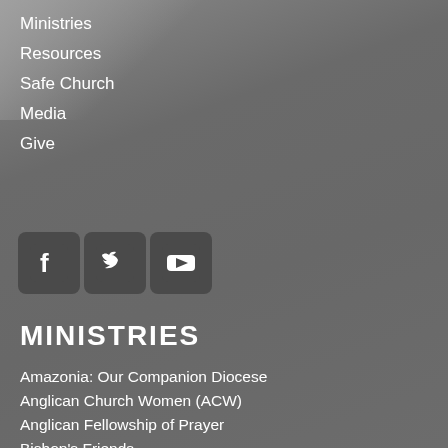Ministries
Resources
Safe Church
Media
Give
[Figure (infographic): Three social media icons: Facebook, Twitter, YouTube]
MINISTRIES
Amazonia: Our Companion Diocese
Anglican Church Women (ACW)
Anglican Fellowship of Prayer
Bishop's Friends
Bridge Builders
Brotherhood of Anglican Churchmen
Camp Huron